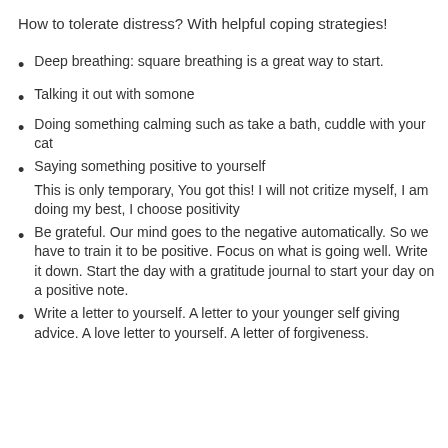How to tolerate distress? With helpful coping strategies!
Deep breathing: square breathing is a great way to start.
Talking it out with somone
Doing something calming such as take a bath, cuddle with your cat
Saying something positive to yourself
This is only temporary, You got this! I will not critize myself, I am doing my best, I choose positivity
Be grateful. Our mind goes to the negative automatically. So we have to train it to be positive. Focus on what is going well. Write it down. Start the day with a gratitude journal to start your day on a positive note.
Write a letter to yourself. A letter to your younger self giving advice. A love letter to yourself. A letter of forgiveness.